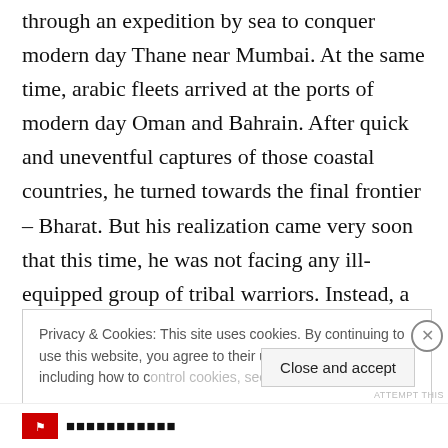through an expedition by sea to conquer modern day Thane near Mumbai. At the same time, arabic fleets arrived at the ports of modern day Oman and Bahrain. After quick and uneventful captures of those coastal countries, he turned towards the final frontier – Bharat. But his realization came very soon that this time, he was not facing any ill-equipped group of tribal warriors. Instead, a highly sophisticated and battle-hardened full-fledged
Privacy & Cookies: This site uses cookies. By continuing to use this website, you agree to their use. To find out more, including how to control cookies, see here: Cookie Policy